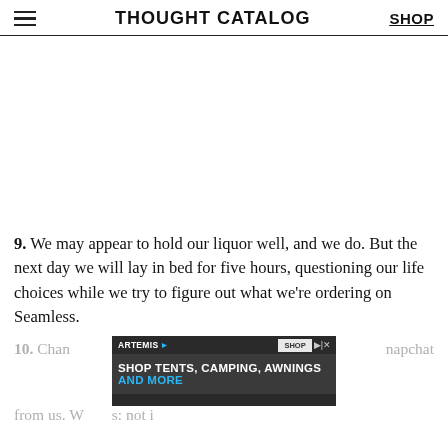THOUGHT CATALOG | SHOP
[Figure (other): Empty white advertisement space placeholder]
9. We may appear to hold our liquor well, and we do. But the next day we will lay in bed for five hours, questioning our life choices while we try to figure out what we're ordering on Seamless.
[Figure (other): Artemis advertisement banner: SHOP TENTS, CAMPING, AWNINGS AND MORE]
10. Chances are you won't get a Snapchat from us. We ... not i...